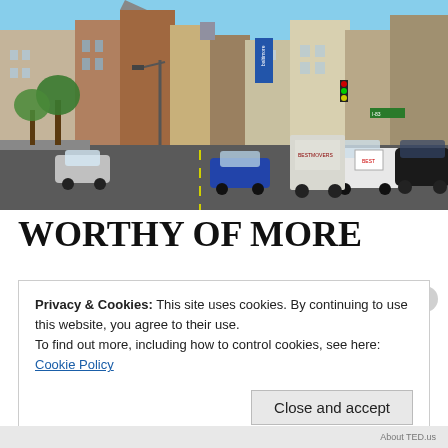[Figure (photo): Street scene of an urban area showing historic brick and stone buildings lining a busy road with cars, trucks, and vans in traffic. Green trees on the left, traffic signals visible in the middle distance, blue sky above.]
WORTHY OF MORE
Privacy & Cookies: This site uses cookies. By continuing to use this website, you agree to their use.
To find out more, including how to control cookies, see here: Cookie Policy
About TED.us